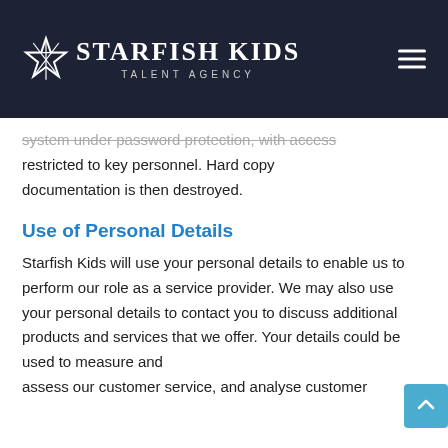STARFISH KIDS TALENT AGENCY
system under password protection, with access restricted to key personnel. Hard copy documentation is then destroyed.
Use of Personal Details
Starfish Kids will use your personal details to enable us to perform our role as a service provider. We may also use your personal details to contact you to discuss additional products and services that we offer. Your details could be used to measure and assess our customer service, and analyse customer